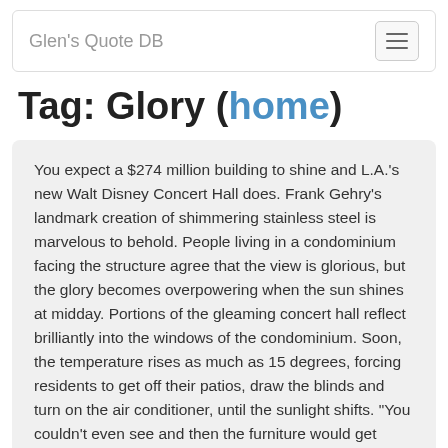Glen's Quote DB
Tag: Glory (home)
You expect a $274 million building to shine and L.A.'s new Walt Disney Concert Hall does. Frank Gehry's landmark creation of shimmering stainless steel is marvelous to behold. People living in a condominium facing the structure agree that the view is glorious, but the glory becomes overpowering when the sun shines at midday. Portions of the gleaming concert hall reflect brilliantly into the windows of the condominium. Soon, the temperature rises as much as 15 degrees, forcing residents to get off their patios, draw the blinds and turn on the air conditioner, until the sunlight shifts. "You couldn't even see and then the furniture would get really hot," said Jacqueline Lagrone, 42, who lives on